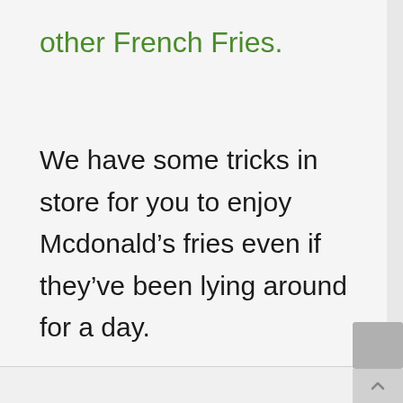other French Fries.
We have some tricks in store for you to enjoy Mcdonald’s fries even if they’ve been lying around for a day.